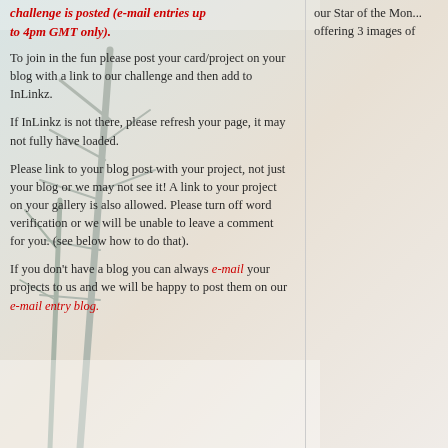challenge is posted (e-mail entries up to 4pm GMT only).
To join in the fun please post your card/project on your blog with a link to our challenge and then add to InLinkz.
If InLinkz is not there, please refresh your page, it may not fully have loaded.
Please link to your blog post with your project, not just your blog or we may not see it! A link to your project on your gallery is also allowed. Please turn off word verification or we will be unable to leave a comment for you. (see below how to do that).
If you don't have a blog you can always e-mail your projects to us and we will be happy to post them on our e-mail entry blog.
our Star of the Mon... offering 3 images of